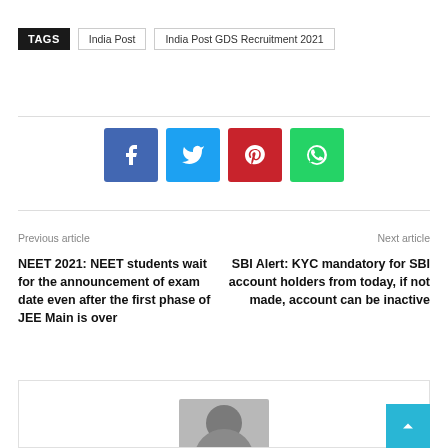TAGS  India Post  India Post GDS Recruitment 2021
[Figure (infographic): Social sharing buttons: Facebook (blue), Twitter (light blue), Pinterest (red), WhatsApp (green)]
Previous article
Next article
NEET 2021: NEET students wait for the announcement of exam date even after the first phase of JEE Main is over
SBI Alert: KYC mandatory for SBI account holders from today, if not made, account can be inactive
[Figure (photo): Bottom card with a person photo (man with glasses)]